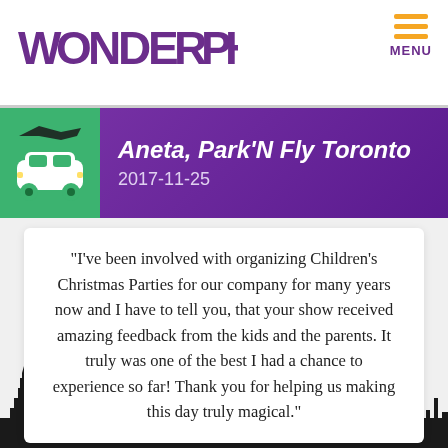[Figure (logo): Wonderphil logo in purple with a gold star above the 'i']
[Figure (infographic): Hamburger menu icon in gold/orange with MENU label in purple]
[Figure (infographic): Purple gradient banner with green car icon (airplane silhouette above), bold italic text 'Aneta, Park'N Fly Toronto' and date '2017-11-25']
"I've been involved with organizing Children's Christmas Parties for our company for many years now and I have to tell you, that your show received amazing feedback from the kids and the parents. It truly was one of the best I had a chance to experience so far! Thank you for helping us making this day truly magical."
[Figure (illustration): Dark city skyline silhouette against light grey background at the bottom of the page]